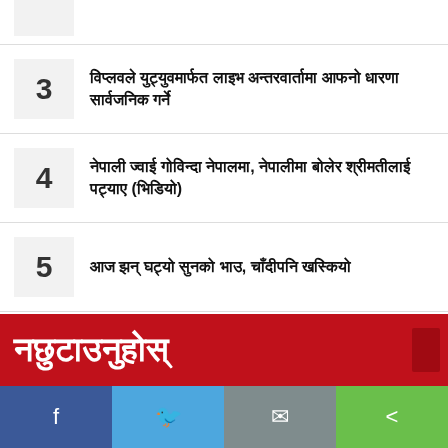3 - विप्लवले युट्युवमार्फत लाइभ अन्तरवार्तामा आफनो धारणा सार्वजनिक गर्ने
4 - नेपाली ज्वाई गोविन्दा नेपालमा, नेपालीमा बोलेर श्रीमतीलाई पट्याए (भिडियो)
5 - आज झन् घट्यो सुनको भाउ, चाँदीपनि खस्कियो
नछुटाउनुहोस्